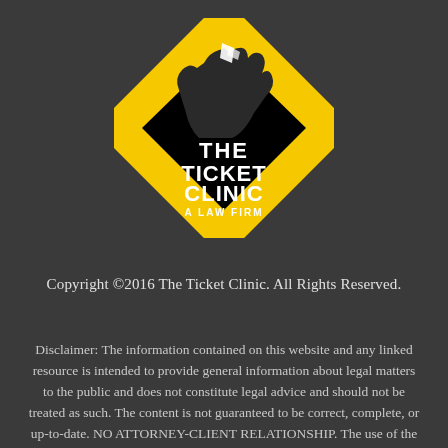[Figure (logo): The Ticket Clinic - A Law Firm logo. Diamond/rhombus shape with yellow border and black fill, featuring a stylized hand holding papers and white text reading 'THE TICKET CLINIC A LAW FIRM'.]
Copyright ©2016 The Ticket Clinic. All Rights Reserved.
Disclaimer: The information contained on this website and any linked resource is intended to provide general information about legal matters to the public and does not constitute legal advice and should not be treated as such. The content is not guaranteed to be correct, complete, or up-to-date. NO ATTORNEY-CLIENT RELATIONSHIP. The use of the website does not create an